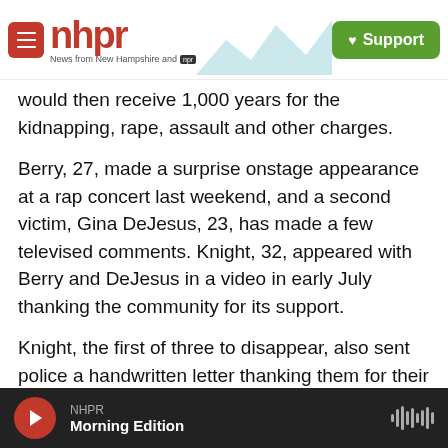[Figure (logo): NHPR website header with hamburger menu, NHPR logo in red, mountain/antenna illustration, and green Support button]
would then receive 1,000 years for the kidnapping, rape, assault and other charges.
Berry, 27, made a surprise onstage appearance at a rap concert last weekend, and a second victim, Gina DeJesus, 23, has made a few televised comments. Knight, 32, appeared with Berry and DeJesus in a video in early July thanking the community for its support.
Knight, the first of three to disappear, also sent police a handwritten letter thanking them for their help collecting cards and gifts for the women. In
NHPR  Morning Edition